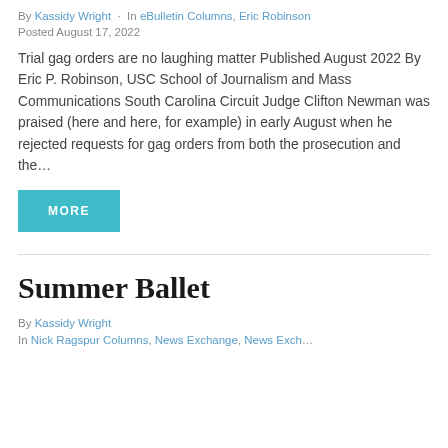By Kassidy Wright  ·  In eBulletin Columns, Eric Robinson
Posted August 17, 2022
Trial gag orders are no laughing matter Published August 2022 By Eric P. Robinson, USC School of Journalism and Mass Communications South Carolina Circuit Judge Clifton Newman was praised (here and here, for example) in early August when he rejected requests for gag orders from both the prosecution and the…
MORE
Summer Ballet
By Kassidy Wright
In Nick Ragspur Columns, News Exchange, News Exchange…